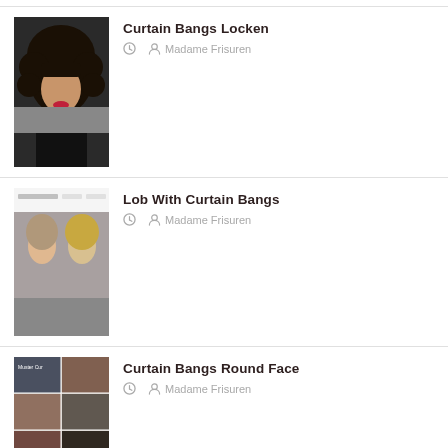[Figure (photo): Woman with curly hair and curtain bangs, wearing black top with red lipstick]
Curtain Bangs Locken
Madame Frisuren
[Figure (photo): Two women with lob haircuts and curtain bangs, before and after style comparison]
Lob With Curtain Bangs
Madame Frisuren
[Figure (photo): Collage of curtain bangs hairstyles for round faces with orange button and two portrait photos below]
Curtain Bangs Round Face
Madame Frisuren